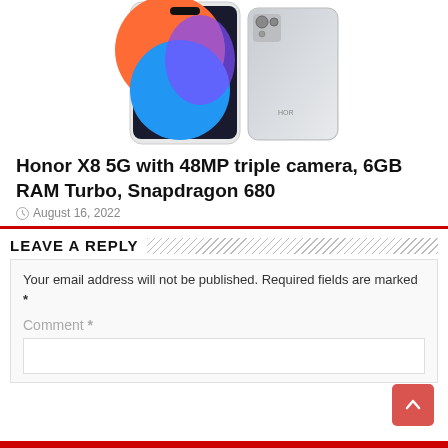[Figure (photo): Honor X8 5G smartphone product image showing the front and back of the device with a colorful blue/orange display and silver back]
Honor X8 5G with 48MP triple camera, 6GB RAM Turbo, Snapdragon 680
August 16, 2022
LEAVE A REPLY
Your email address will not be published. Required fields are marked *
Comment *